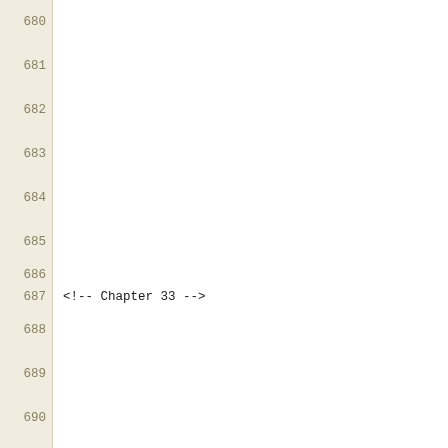680 <!ENTITY xfce4-appfinder-version "4.10.1">
681 <!ENTITY xfce4-power-manager-version "1.2.0">
682 <!ENTITY xfce4-settings-version "4.10.1">
683 <!ENTITY xfdesktop-version "4.10.2">
684 <!ENTITY xfwm4-version "4.10.1">
685 <!ENTITY xfce4-session-version "4.10.1">
686
687 <!-- Chapter 33 -->
688 <!ENTITY midori-version "0.5.8">
689 <!ENTITY parole-version "0.5.4">
690 <!ENTITY gtksourceview2-version "2.10.5">
691 <!ENTITY mousepad-version "0.3.0">
692 <!ENTITY vte2-version "0.28.2">